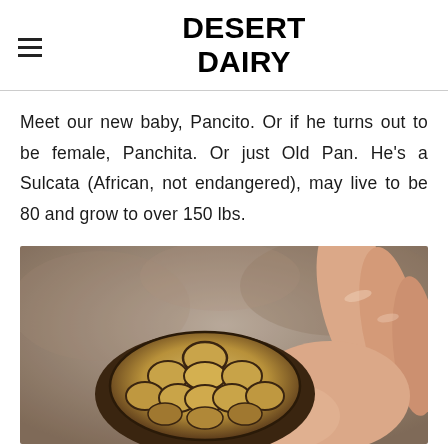DESERT DAIRY
Meet our new baby, Pancito. Or if he turns out to be female, Panchita. Or just Old Pan. He's a Sulcata (African, not endangered), may live to be 80 and grow to over 150 lbs.
[Figure (photo): A small baby Sulcata tortoise being held in a person's hand, showing the top of its shell with tan and dark brown patterned scutes. Background is blurred rocks or stones.]